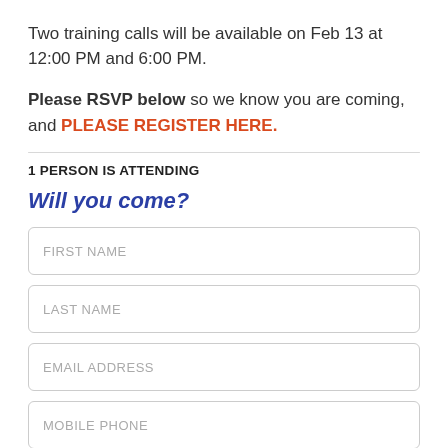Two training calls will be available on Feb 13 at 12:00 PM and 6:00 PM.
Please RSVP below so we know you are coming, and PLEASE REGISTER HERE.
1 PERSON IS ATTENDING
Will you come?
FIRST NAME
LAST NAME
EMAIL ADDRESS
MOBILE PHONE